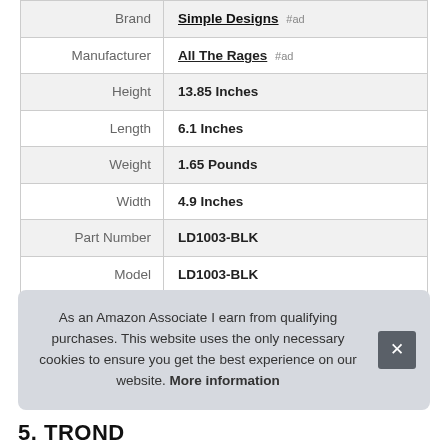| Attribute | Value |
| --- | --- |
| Brand | Simple Designs #ad |
| Manufacturer | All The Rages #ad |
| Height | 13.85 Inches |
| Length | 6.1 Inches |
| Weight | 1.65 Pounds |
| Width | 4.9 Inches |
| Part Number | LD1003-BLK |
| Model | LD1003-BLK |
| Warranty | 1 year limited. |
As an Amazon Associate I earn from qualifying purchases. This website uses the only necessary cookies to ensure you get the best experience on our website. More information
5. TROND